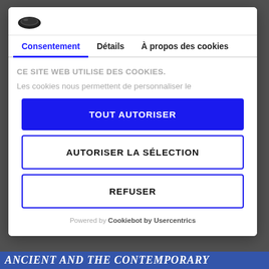[Figure (logo): Cookiebot logo — dark oval/hat shape icon]
Consentement	Détails	À propos des cookies
CE SITE WEB UTILISE DES COOKIES.
Les cookies nous permettent de personnaliser le
TOUT AUTORISER
AUTORISER LA SÉLECTION
REFUSER
Powered by Cookiebot by Usercentrics
ANCIENT AND THE CONTEMPORARY